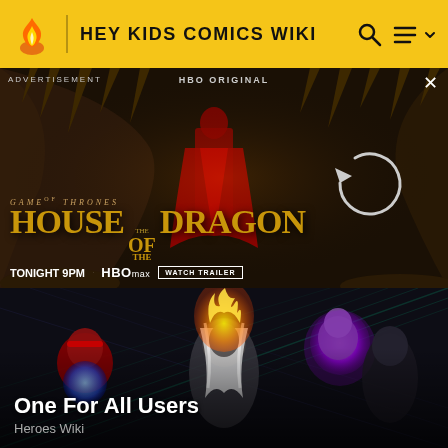HEY KIDS COMICS WIKI
[Figure (screenshot): Advertisement banner for HBO Original Game of Thrones: House of the Dragon. Text reads 'TONIGHT 9PM | HBOMAX | WATCH TRAILER'. A figure stands in a dark cavern setting.]
[Figure (screenshot): Anime illustration showing multiple characters with glowing powers/auras in a dark setting with diagonal light beams.]
One For All Users
Heroes Wiki